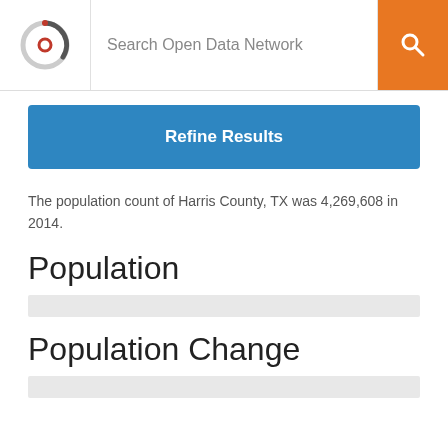Search Open Data Network
The population count of Harris County, TX was 4,269,608 in 2014.
Population
Population Change